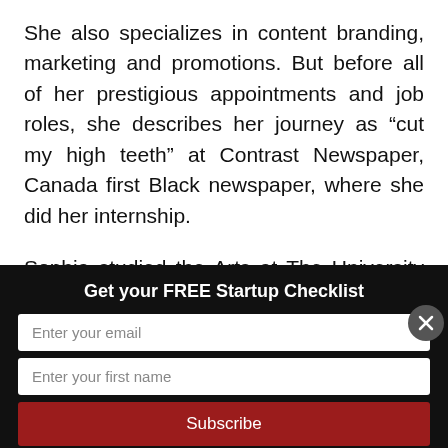She also specializes in content branding, marketing and promotions. But before all of her prestigious appointments and job roles, she describes her journey as “cut my high teeth” at Contrast Newspaper, Canada first Black newspaper, where she did her internship.
Sophia studied the Arts at The University of Toronto at the beginning of her post-secondary
Get your FREE Startup Checklist
Enter your email
Enter your first name
Subscribe